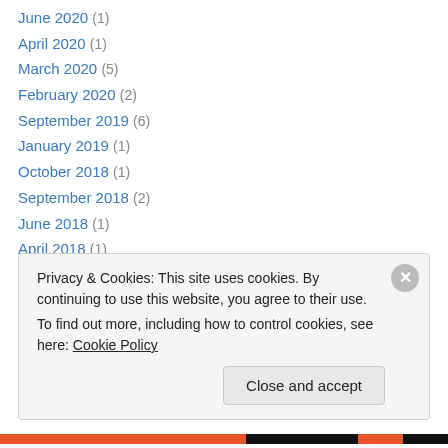June 2020 (1)
April 2020 (1)
March 2020 (5)
February 2020 (2)
September 2019 (6)
January 2019 (1)
October 2018 (1)
September 2018 (2)
June 2018 (1)
April 2018 (1)
February 2018 (1)
November 2017 (1)
October 2017 (1)
Privacy & Cookies: This site uses cookies. By continuing to use this website, you agree to their use. To find out more, including how to control cookies, see here: Cookie Policy